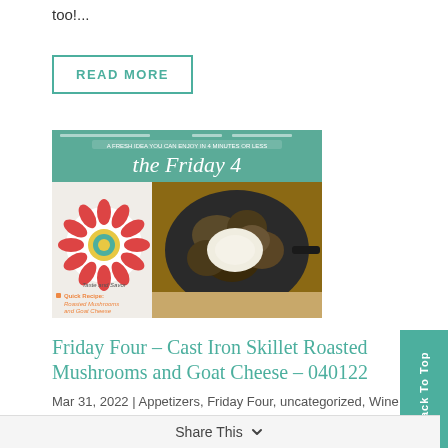too!...
READ MORE
[Figure (photo): Newsletter image showing 'The Friday 4' newsletter cover with a cast iron skillet of roasted mushrooms and goat cheese, a flower logo, recipe text, and food photography]
Friday Four – Cast Iron Skillet Roasted Mushrooms and Goat Cheese – 040122
Mar 31, 2022 | Appetizers, Friday Four, uncategorized, Wine | Comments
Back To Top
Share This